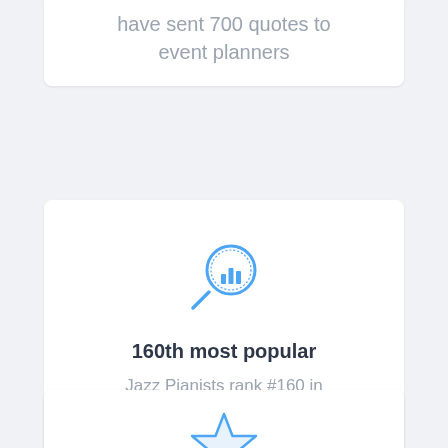have sent 700 quotes to event planners
[Figure (illustration): Blue magnifying glass icon with a bar chart inside the lens]
160th most popular
Jazz Pianists rank #160 in popularity out of 545 categories on GigSalad
[Figure (illustration): Blue outline star icon]